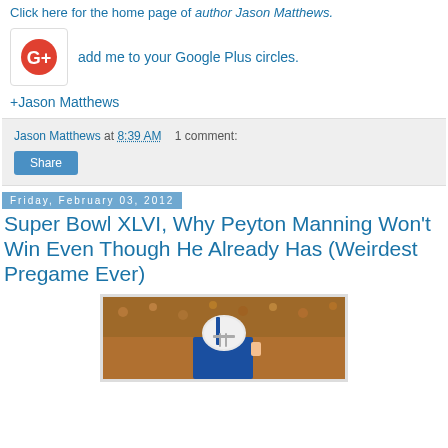Click here for the home page of author Jason Matthews.
[Figure (logo): Google Plus icon (red circle with G+ symbol) in a white rounded square border]
add me to your Google Plus circles.
+Jason Matthews
Jason Matthews at 8:39 AM   1 comment:
Share
Friday, February 03, 2012
Super Bowl XLVI, Why Peyton Manning Won't Win Even Though He Already Has (Weirdest Pregame Ever)
[Figure (photo): Football player (Peyton Manning) in Colts helmet and uniform in front of a crowd]